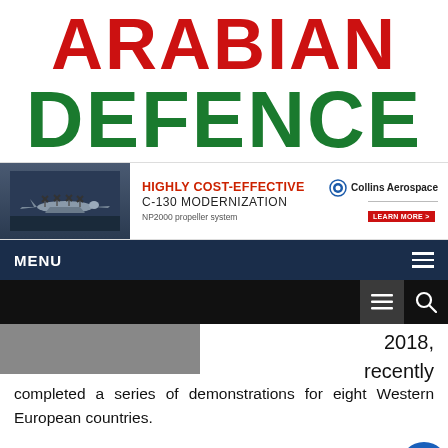ARABIAN DEFENCE
[Figure (illustration): Collins Aerospace advertisement banner featuring a C-130 aircraft with text: HIGHLY COST-EFFECTIVE C-130 MODERNIZATION, NP2000 propeller system, Collins Aerospace logo, LEARN MORE button]
MENU
2018, recently completed a series of demonstrations for eight Western European countries.
Operational with the Israeli Defense Force since 2018, HattoriX is a passive/active target acquisition system that uses Artificial Intelligence to enable Forward Observers and